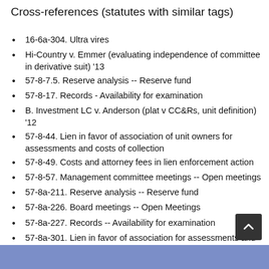Cross-references (statutes with similar tags)
16-6a-304. Ultra vires
Hi-Country v. Emmer (evaluating independence of committee in derivative suit) '13
57-8-7.5. Reserve analysis -- Reserve fund
57-8-17. Records - Availability for examination
B. Investment LC v. Anderson (plat v CC&Rs, unit definition) '12
57-8-44. Lien in favor of association of unit owners for assessments and costs of collection
57-8-49. Costs and attorney fees in lien enforcement action
57-8-57. Management committee meetings -- Open meetings
57-8a-211. Reserve analysis -- Reserve fund
57-8a-226. Board meetings -- Open Meetings
57-8a-227. Records -- Availability for examination
57-8a-301. Lien in favor of association for assessments and costs of collection